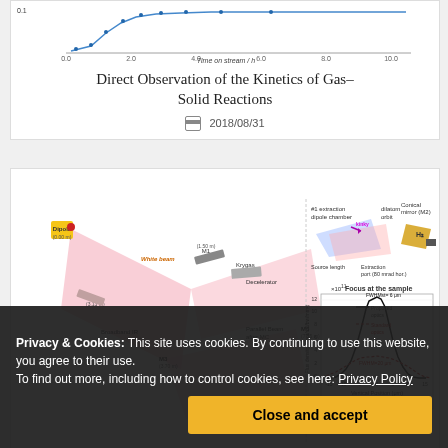[Figure (continuous-plot): Line chart showing data over 'Time on stream / h' axis, partial view at top of page]
Direct Observation of the Kinetics of Gas–Solid Reactions
2018/08/31
[Figure (schematic): Scientific beamline optics diagram showing Dipole, mirrors M1-M6, Broadband IR beam path, Focal Point, Decellerator components on left side; and on right side: extraction dipole chamber, dilatom orbit, synchrotron source, H2 components, a flux density graph titled 'Focus at the sample' showing Proposed optics vs Standard optics curves, y-axis 'Flux density (phot/s 1/bw/mm^2) x10^11', x-axis 'Vertical Position (μm)']
Synchrotron Infrared beamline optics
2018/08/16
Privacy & Cookies: This site uses cookies. By continuing to use this website, you agree to their use. To find out more, including how to control cookies, see here: Privacy Policy
Close and accept